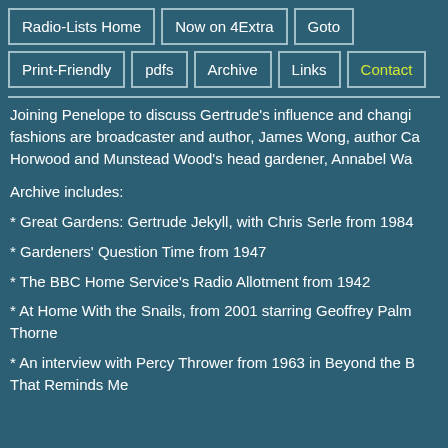Radio-Lists Home
Now on 4Extra
Goto
Print-Friendly
pdfs
Archive
Links
Contact
Joining Penelope to discuss Gertrude's influence and changing fashions are broadcaster and author, James Wong, author Ca Horwood and Munstead Wood's head gardener, Annabel Wa
Archive includes:
* Great Gardens: Gertrude Jekyll, with Chris Serle from 1984
* Gardeners' Question Time from 1947
* The BBC Home Service's Radio Allotment from 1942
* At Home With the Snails, from 2001 starring Geoffrey Palm Thorne
* An interview with Percy Thrower from 1963 in Beyond the B That Reminds Me